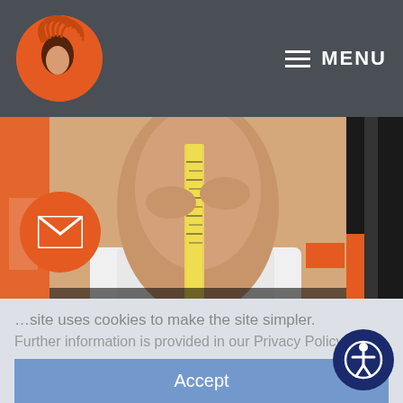[Figure (logo): Circular orange logo with stylized female profile/head with flowing hair lines]
MENU
[Figure (photo): Woman in white underwear measuring her waist with a yellow tape measure, with orange and black graphic design elements overlaid. Text overlay reads '3 IMPORTANT FACTORS TO CONSIDER ABOUT' and 'liposuction']
site uses cookies to make the site simpler.
Further information is provided in our Privacy Policy.
Accept